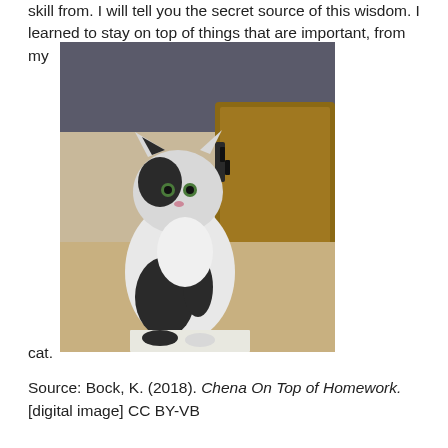skill from. I will tell you the secret source of this wisdom. I learned to stay on top of things that are important, from my
[Figure (photo): A black and white cat sitting on top of a piece of paper on a carpeted floor, with a wooden trunk and dark sofa in the background.]
cat.
Source: Bock, K. (2018). Chena On Top of Homework. [digital image] CC BY-VB